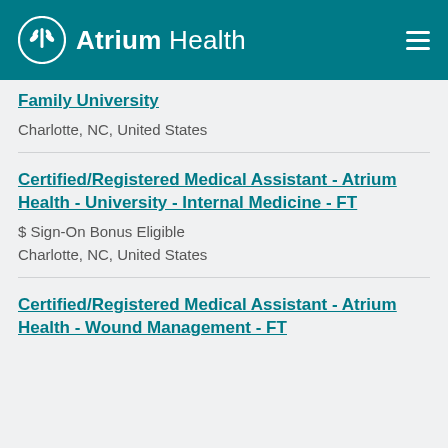Atrium Health
Family University
Charlotte, NC, United States
Certified/Registered Medical Assistant - Atrium Health - University - Internal Medicine - FT
$ Sign-On Bonus Eligible
Charlotte, NC, United States
Certified/Registered Medical Assistant - Atrium Health - Wound Management - FT